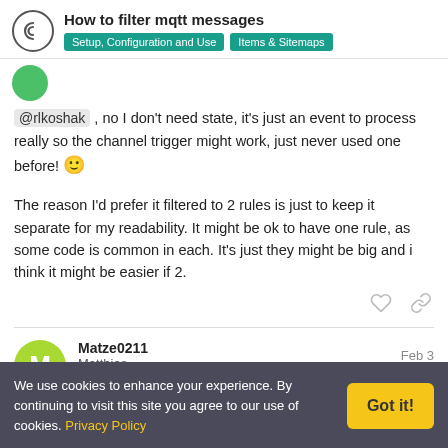How to filter mqtt messages | Setup, Configuration and Use | Items & Sitemaps
@rlkoshak , no I don't need state, it's just an event to process really so the channel trigger might work, just never used one before! 🙂
The reason I'd prefer it filtered to 2 rules is just to keep it separate for my readability. It might be ok to have one rule, as some code is common in each. It's just they might be big and i think it might be easier if 2.
Matze0211
Matthias
Feb 3
We use cookies to enhance your experience. By continuing to visit this site you agree to our use of cookies. Privacy Policy